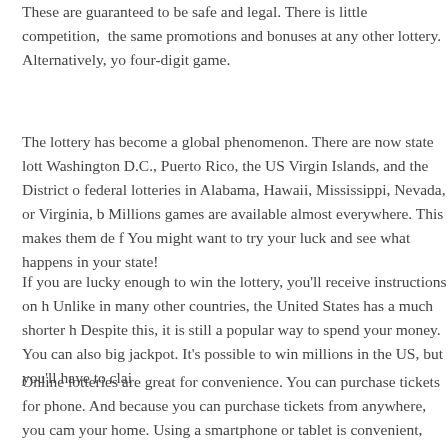These are guaranteed to be safe and legal. There is little competition, the same promotions and bonuses at any other lottery. Alternatively, yo four-digit game.
The lottery has become a global phenomenon. There are now state lott Washington D.C., Puerto Rico, the US Virgin Islands, and the District o federal lotteries in Alabama, Hawaii, Mississippi, Nevada, or Virginia, b Millions games are available almost everywhere. This makes them de f You might want to try your luck and see what happens in your state!
If you are lucky enough to win the lottery, you'll receive instructions on h Unlike in many other countries, the United States has a much shorter h Despite this, it is still a popular way to spend your money. You can also big jackpot. It's possible to win millions in the US, but you'll have to clai
Online lotteries are great for convenience. You can purchase tickets for phone. And because you can purchase tickets from anywhere, you cam your home. Using a smartphone or tablet is convenient, too. But remen websites on the Internet aren't standardized. Each official lottery distrib their way. This is not a bad thing, because it lets you play your favorite time.